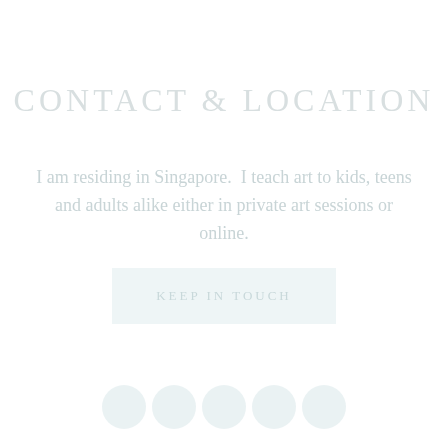CONTACT & LOCATION
I am residing in Singapore.  I teach art to kids, teens and adults alike either in private art sessions or online.
[Figure (other): A light blue-tinted button/box with text 'KEEP IN TOUCH' in faint uppercase letters]
[Figure (other): A row of five faint circular social media icons at the bottom of the page]